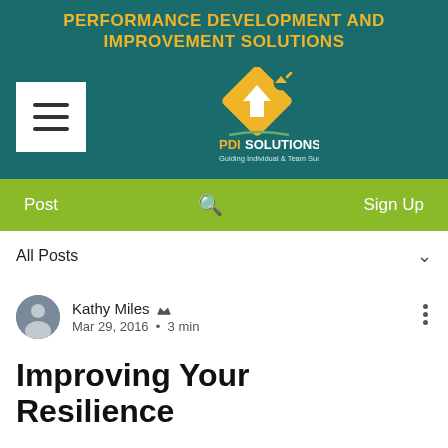Performance Development And Improvement Solutions
[Figure (logo): PDI Solutions logo with diamond shape and rocket, text 'PDI SOLUTIONS Guiding Individual & Team Success' on teal background]
[Figure (screenshot): Navigation bar with Post, search icon, and Sign Up on green background]
All Posts
Kathy Miles · Mar 29, 2016 · 3 min
Improving Your Resilience